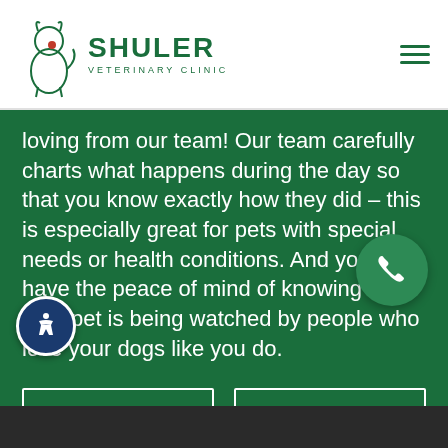SHULER VETERINARY CLINIC
loving from our team! Our team carefully charts what happens during the day so that you know exactly how they did – this is especially great for pets with special needs or health conditions. And you'll have the peace of mind of knowing that your pet is being watched by people who love your dogs like you do.
Pricing
Requirements